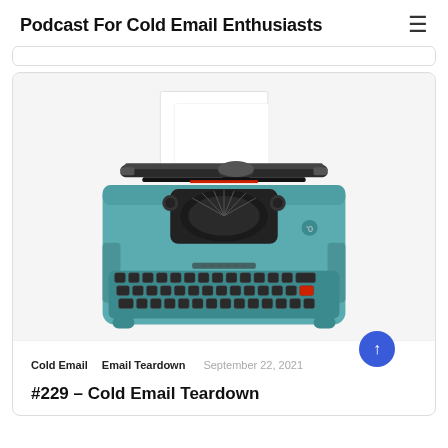Podcast For Cold Email Enthusiasts
[Figure (photo): Top-down view of a teal/turquoise vintage typewriter with white paper loaded, showing keyboard and platen roller, on a white background.]
Cold Email   Email Teardown   September 22, 2021
#229 – Cold Email Teardown